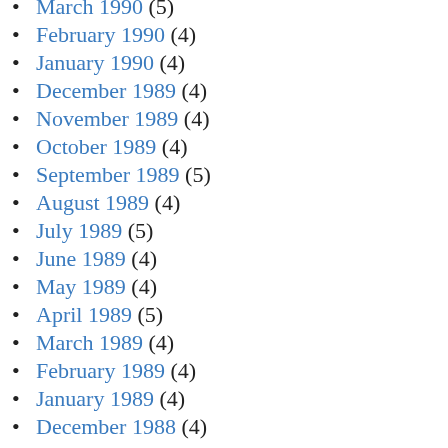March 1990 (5)
February 1990 (4)
January 1990 (4)
December 1989 (4)
November 1989 (4)
October 1989 (4)
September 1989 (5)
August 1989 (4)
July 1989 (5)
June 1989 (4)
May 1989 (4)
April 1989 (5)
March 1989 (4)
February 1989 (4)
January 1989 (4)
December 1988 (4)